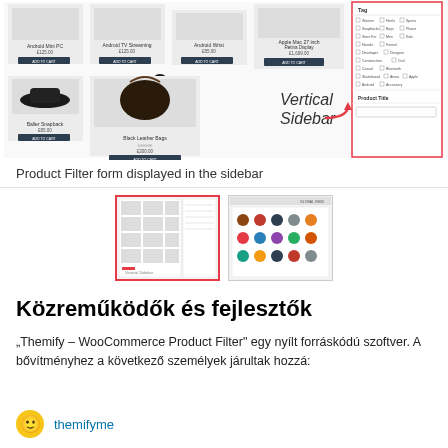[Figure (screenshot): WooCommerce product listing page with a vertical sidebar showing product filter options including tags and product title fields. Products visible include hats and bags with prices in GBP. Text 'Vertical Sidebar' annotated with a red arrow.]
Product Filter form displayed in the sidebar
[Figure (screenshot): Two thumbnail screenshots of WooCommerce product filter pages showing product listings with sidebar filters.]
Közreműködők és fejlesztők
“Themify – WooCommerce Product Filter” egy nyílt forráskódú szoftver. A bővítményhez a következő személyek járultak hozzá:
themifyme